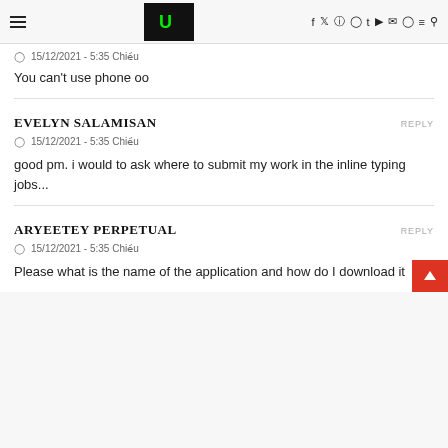[hamburger menu] [logo] f y instagram pinterest t youtube mail snapchat [menu] [search]
15/12/2021 - 5:35 Chiều
You can't use phone oo
EVELYN SALAMISAN
15/12/2021 - 5:35 Chiều
good pm. i would to ask where to submit my work in the inline typing jobs...
ARYEETEY PERPETUAL
15/12/2021 - 5:35 Chiều
Please what is the name of the application and how do I download it